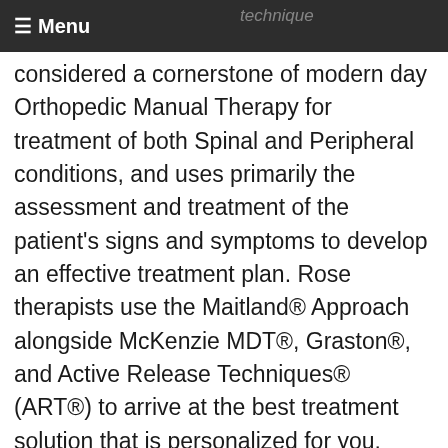≡ Menu | technique
considered a cornerstone of modern day Orthopedic Manual Therapy for treatment of both Spinal and Peripheral conditions, and uses primarily the assessment and treatment of the patient's signs and symptoms to develop an effective treatment plan. Rose therapists use the Maitland® Approach alongside McKenzie MDT®, Graston®, and Active Release Techniques® (ART®) to arrive at the best treatment solution that is personalized for you.
What makes the Maitland® Concept special is the combination of the individual and specific treatment of the patient (both initial and ongoing) with the therapist's clinical experience and the